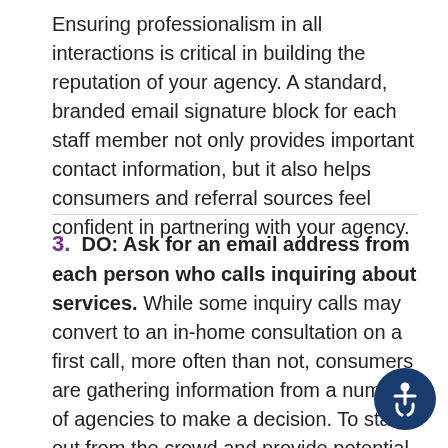Ensuring professionalism in all interactions is critical in building the reputation of your agency. A standard, branded email signature block for each staff member not only provides important contact information, but it also helps consumers and referral sources feel confident in partnering with your agency.
3. DO: Ask for an email address from each person who calls inquiring about services. While some inquiry calls may convert to an in-home consultation on a first call, more often than not, consumers are gathering information from a number of agencies to make a decision. To stand out from the crowd and provide potential clients with useful follow up, be sure and ask for the person's email address before you call them to continue the conversation.